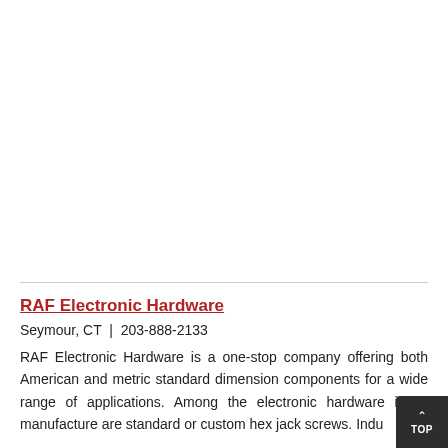RAF Electronic Hardware
Seymour, CT  |  203-888-2133
RAF Electronic Hardware is a one-stop company offering both American and metric standard dimension components for a wide range of applications. Among the electronic hardware items manufacture are standard or custom hex jack screws. Indu...